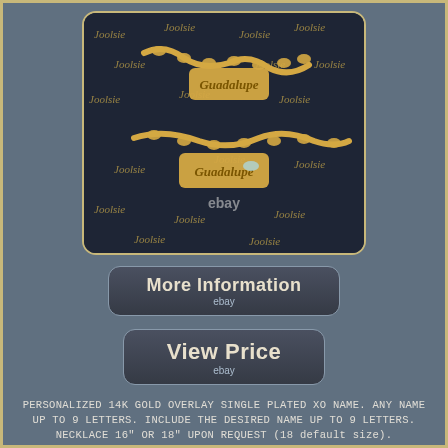[Figure (photo): Gold personalized name necklace with XO chain on dark background with Joolsie branding watermark. Two gold script name pendants visible on a rope/popcorn chain.]
[Figure (screenshot): Button labeled 'More Information' with 'ebay' subtitle, rounded rectangle button style on dark background.]
[Figure (screenshot): Button labeled 'View Price' with 'ebay' subtitle, rounded rectangle button style on dark background.]
PERSONALIZED 14K GOLD OVERLAY SINGLE PLATED XO NAME. ANY NAME UP TO 9 LETTERS. INCLUDE THE DESIRED NAME UP TO 9 LETTERS. NECKLACE 16" OR 18" UPON REQUEST (18 default size).